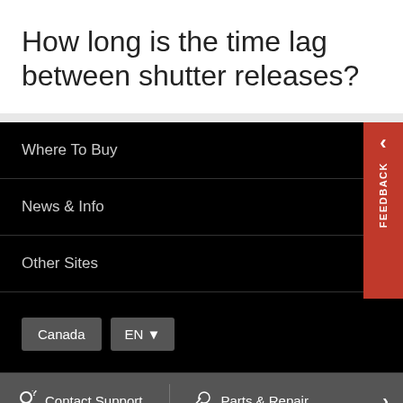How long is the time lag between shutter releases?
Where To Buy
News & Info
Other Sites
Canada  EN
Contact Support  Parts & Repair
Careers  Contact Us  Company Info